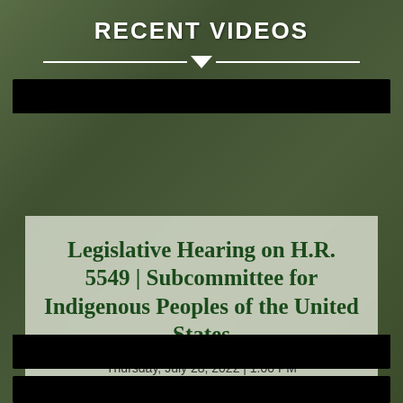RECENT VIDEOS
[Figure (screenshot): Video thumbnail for Legislative Hearing on H.R. 5549 with forest background. Shows title card with dark green text on semi-transparent light background, House Committee on Natural Resources logo, date Thursday July 28 2022 1:00 PM.]
Legislative Hearing on H.R. 5549 | Subcommittee for Indigenous Peoples of the United States
Thursday, July 28, 2022 | 1:00 PM
HOUSE COMMITTEE ON NATURAL RESOURCES RANKING MEMBER BRUCE WESTERMAN